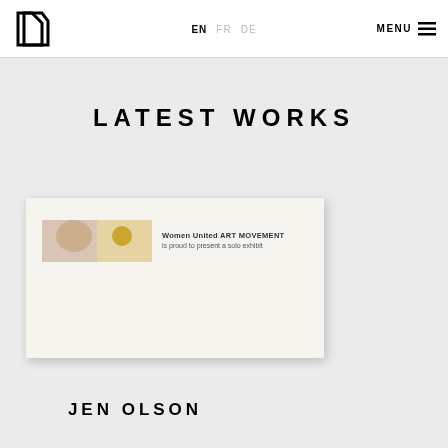EN FR DE MENU
LATEST WORKS
[Figure (illustration): A card/flyer with an image of a person on the left and text on the right reading: Women United ART MOVEMENT is proud to present a solo exhibit]
JEN OLSON